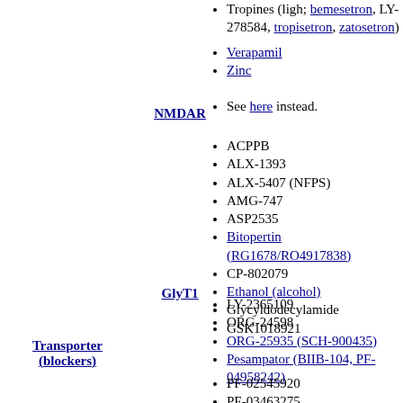Tropines (ligh; bemesetron, LY-278584, tropisetron, zatosetron)
Verapamil
Zinc
NMDAR
See here instead.
GlyT1
ACPPB
ALX-1393
ALX-5407 (NFPS)
AMG-747
ASP2535
Bitopertin (RG1678/RO4917838)
CP-802079
Ethanol (alcohol)
Glycyldodecylamide
GSK1018921
LY-2365109
ORG-24598
ORG-25935 (SCH-900435)
Pesampator (BIIB-104, PF-04958242)
PF-02545920
PF-03463275
Sarcosine
SSR-103,800
Transporter (blockers)